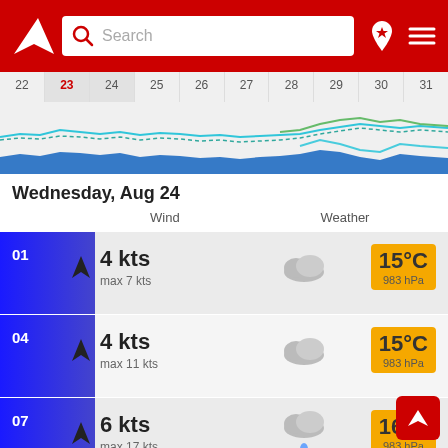[Figure (screenshot): App header with red background, logo (white triangle arrow), search bar, pin/star icon, and hamburger menu]
[Figure (continuous-plot): Calendar date strip (22-31) with wave/wind chart below showing colored wave lines (cyan, blue, green) across dates]
Wednesday, Aug 24
Wind   Weather
| Time | Wind | Max | Icon | Temp | Pressure |
| --- | --- | --- | --- | --- | --- |
| 01 | 4 kts | max 7 kts | cloudy | 15°C | 983 hPa |
| 04 | 4 kts | max 11 kts | cloudy | 15°C | 983 hPa |
| 07 | 6 kts | max 17 kts | cloudy rain 0.5 mm | 16°C | 983 hPa |
| 10 | 6 kts | max 14 kts | cloudy rain | 16°C | 983 hPa |